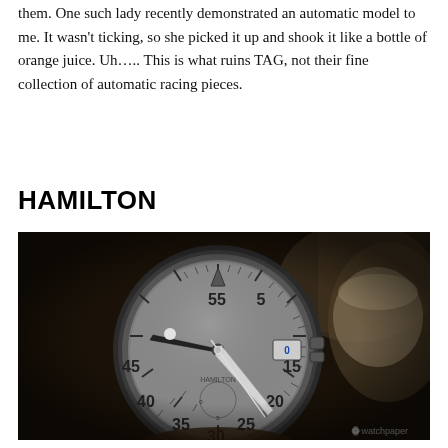them. One such lady recently demonstrated an automatic model to me. It wasn't ticking, so she picked it up and shook it like a bottle of orange juice. Uh..... This is what ruins TAG, not their fine collection of automatic racing pieces.
HAMILTON
[Figure (photo): A Hamilton pilot/aviator watch with a large round grey dial showing minute markers 5, 15, 20, 25, 30, 35, 40, 45, 55 and an inverted triangle at 12 o'clock. The watch has a date window and is being held by hand against a dark background. A watermark 'watchpaper' appears in the lower right corner.]
They Could dw time with them Dil...